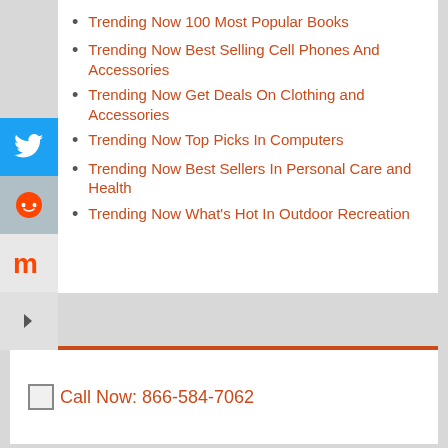Trending Now 100 Most Popular Books
Trending Now Best Selling Cell Phones And Accessories
Trending Now Get Deals On Clothing and Accessories
Trending Now Top Picks In Computers
Trending Now Best Sellers In Personal Care and Health
Trending Now What's Hot In Outdoor Recreation
Call Now: 866-584-7062